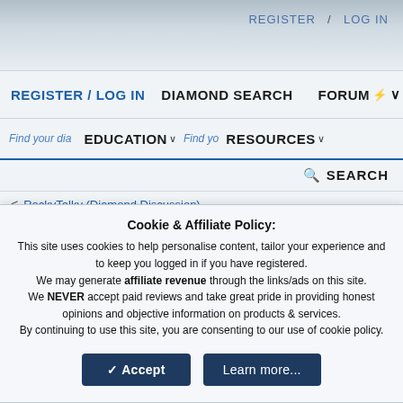REGISTER / LOG IN
DIAMOND SEARCH   FORUM   EDUCATION   RESOURCES   SEARCH
Find your diamond   Find yo...
< RockyTalky (Diamond Discussion)
Another upgrade
Cookie & Affiliate Policy:
This site uses cookies to help personalise content, tailor your experience and to keep you logged in if you have registered.
We may generate affiliate revenue through the links/ads on this site.
We NEVER accept paid reviews and take great pride in providing honest opinions and objective information on products & services.
By continuing to use this site, you are consenting to our use of cookie policy.